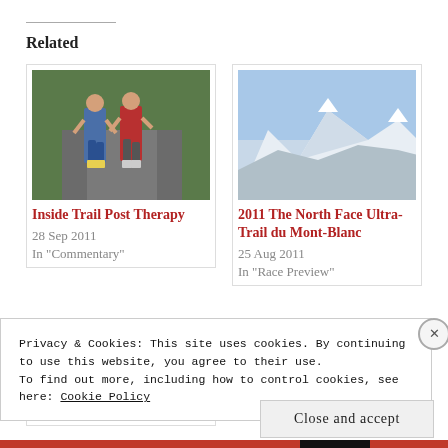Related
[Figure (photo): Two runners on a road trail, viewed from behind, wearing athletic gear]
Inside Trail Post Therapy
28 Sep 2011
In "Commentary"
[Figure (photo): Snow-capped mountain range (Mont Blanc area) under blue sky]
2011 The North Face Ultra-Trail du Mont-Blanc
25 Aug 2011
In "Race Preview"
[Figure (photo): Partial image of a medal or badge with dark background]
Privacy & Cookies: This site uses cookies. By continuing to use this website, you agree to their use.
To find out more, including how to control cookies, see here: Cookie Policy
Close and accept